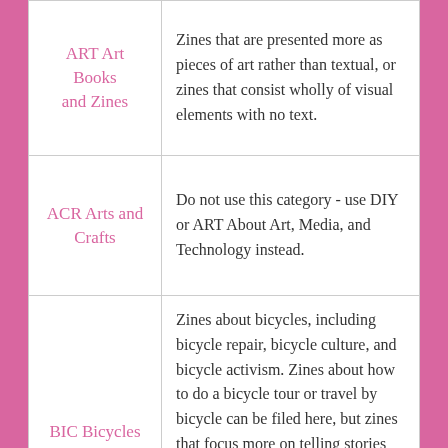| Category | Description |
| --- | --- |
| ART Art Books and Zines | Zines that are presented more as pieces of art rather than textual, or zines that consist wholly of visual elements with no text. |
| ACR Arts and Crafts | Do not use this category - use DIY or ART About Art, Media, and Technology instead. |
| BIC Bicycles | Zines about bicycles, including bicycle repair, bicycle culture, and bicycle activism. Zines about how to do a bicycle tour or travel by bicycle can be filed here, but zines that focus more on telling stories about a trip done by bicycle should be filed under TRV Travel. Zines about other kinds of transportation and transportation in |